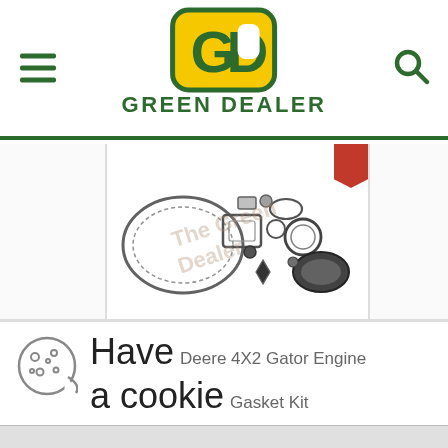[Figure (logo): Green Dealer logo — yellow rounded square icon with 'GD' letters and green 'GREEN DEALER' text beneath]
[Figure (photo): Engine gasket kit parts laid out — various black rubber gaskets and seals for John Deere 4X2 Gator with watermark text 'The Green Dealer']
[Figure (illustration): Cookie consent overlay with cookie icon, 'Have a cookie' heading, overlay text 'Deere 4X2 Gator Engine Gasket Kit', accept message, and I Accept button]